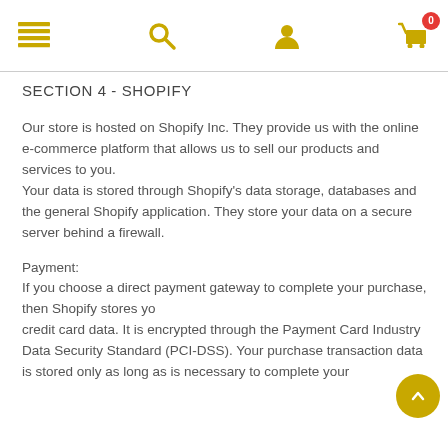Navigation bar with menu, search, user, and cart (0 items) icons
SECTION 4 - SHOPIFY
Our store is hosted on Shopify Inc. They provide us with the online e-commerce platform that allows us to sell our products and services to you. Your data is stored through Shopify's data storage, databases and the general Shopify application. They store your data on a secure server behind a firewall.
Payment:
If you choose a direct payment gateway to complete your purchase, then Shopify stores your credit card data. It is encrypted through the Payment Card Industry Data Security Standard (PCI-DSS). Your purchase transaction data is stored only as long as is necessary to complete your